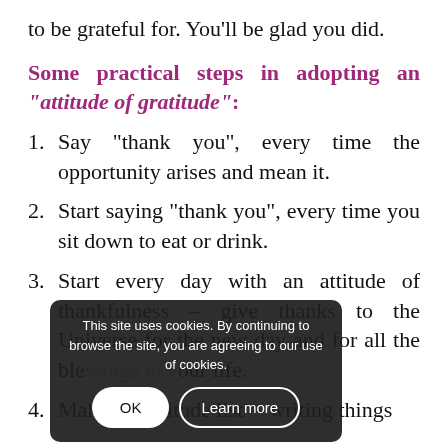to be grateful for. You’ll be glad you did.
Some practical steps in adopting an “attitude of gratitude”:
Say “thank you”, every time the opportunity arises and mean it.
Start saying “thank you”, every time you sit down to eat or drink.
Start every day with an attitude of thankfulness – give thanks to the Universe for the new day and for all the blessings in your life.
Make a ‘gratitude list’ – writing things
This site uses cookies. By continuing to browse the site, you are agreeing to our use of cookies.